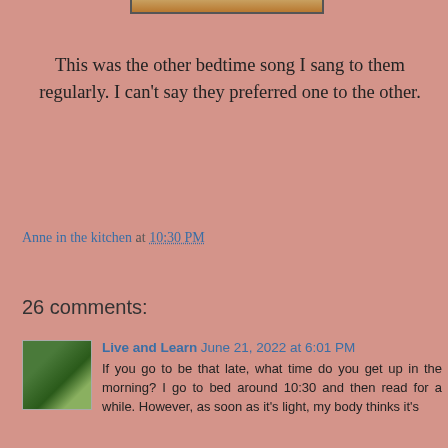[Figure (photo): Top of a photo partially visible at the very top of the page, showing warm orange/brown tones, cropped]
This was the other bedtime song I sang to them regularly. I can't say they preferred one to the other.
Anne in the kitchen at 10:30 PM
Share
26 comments:
Live and Learn  June 21, 2022 at 6:01 PM
If you go to be that late, what time do you get up in the morning? I go to bed around 10:30 and then read for a while. However, as soon as it's light, my body thinks it's